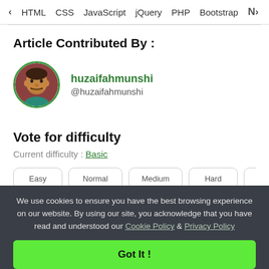< HTML  CSS  JavaScript  jQuery  PHP  Bootstrap  N>
Article Contributed By :
[Figure (photo): Circular avatar photo of huzaifahmunshi with green border]
huzaifahmunshi
@huzaifahmunshi
Vote for difficulty
Current difficulty : Basic
Easy  Normal  Medium  Hard  Expert
We use cookies to ensure you have the best browsing experience on our website. By using our site, you acknowledge that you have read and understood our Cookie Policy & Privacy Policy
Got It !